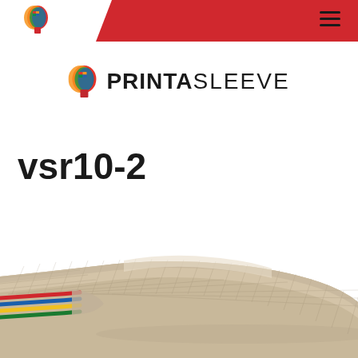PrintaSleeve header navigation with logo and hamburger menu
[Figure (logo): PrintaSleeve brand logo with colorful head icon and PRINTASLEEVE text]
vsr10-2
[Figure (photo): Close-up photo of a beige/cream mesh cable sleeve (vsr10-2) with colorful wires (red, blue, yellow, green) emerging from one end, on a white background]